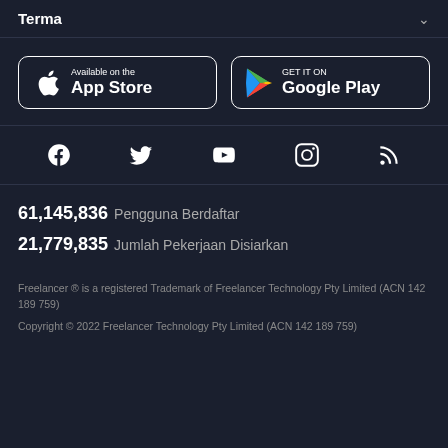Terma
[Figure (logo): App Store and Google Play download buttons side by side]
[Figure (infographic): Social media icons row: Facebook, Twitter, YouTube, Instagram, RSS]
61,145,836  Pengguna Berdaftar
21,779,835  Jumlah Pekerjaan Disiarkan
Freelancer ® is a registered Trademark of Freelancer Technology Pty Limited (ACN 142 189 759)
Copyright © 2022 Freelancer Technology Pty Limited (ACN 142 189 759)